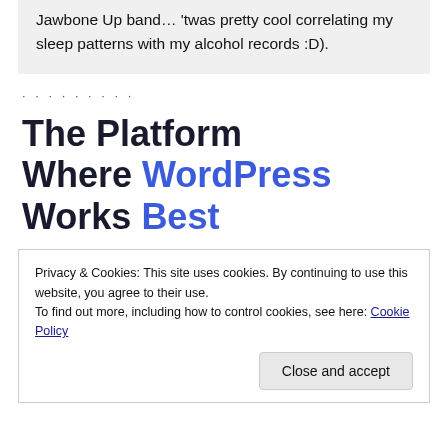tracking my sleep using the Jawbone Up band… 'twas pretty cool correlating my sleep patterns with my alcohol records :D).
· · · · · · · · ·
The Platform Where WordPress Works Best
Privacy & Cookies: This site uses cookies. By continuing to use this website, you agree to their use.
To find out more, including how to control cookies, see here: Cookie Policy